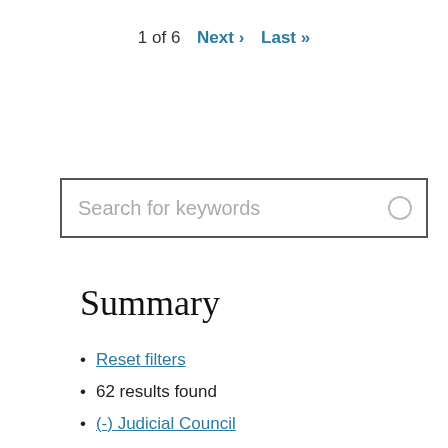1 of 6  Next ›  Last »
[Figure (screenshot): Search input box with placeholder text 'Search for keywords' and a circular search icon on the right]
Summary
Reset filters
62 results found
(-) Judicial Council